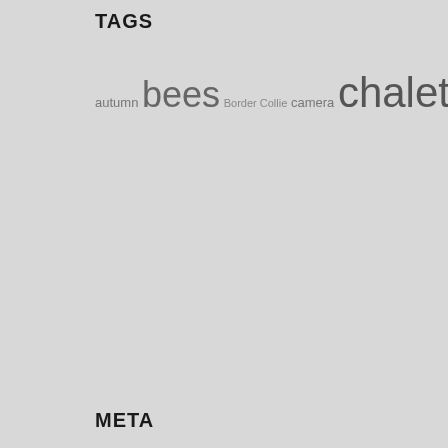TAGS
autumn bees Border Collie camera chalet chanterelles chickens computer England Happy New Year Haymaking hives lambs Maria mikesimages Milan Saradin mountains News New Year Orchids PC piste powder ram shearing sheep ski-ing Slovakia snow snowboard snowboarding SSD storms TV UK vegetable garden Velky Krivan visitors Vratna Vratna Chleb website wild flower meadows wild mushrooms wild rasberries winter
META